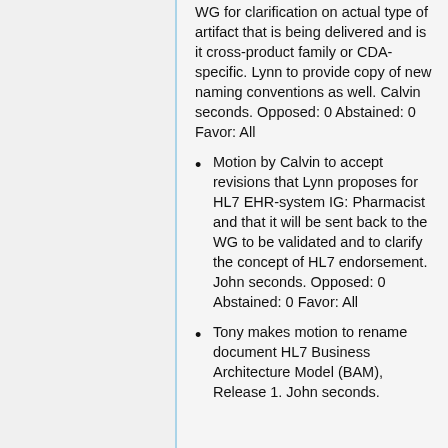WG for clarification on actual type of artifact that is being delivered and is it cross-product family or CDA-specific. Lynn to provide copy of new naming conventions as well. Calvin seconds. Opposed: 0 Abstained: 0 Favor: All
Motion by Calvin to accept revisions that Lynn proposes for HL7 EHR-system IG: Pharmacist and that it will be sent back to the WG to be validated and to clarify the concept of HL7 endorsement. John seconds. Opposed: 0 Abstained: 0 Favor: All
Tony makes motion to rename document HL7 Business Architecture Model (BAM), Release 1. John seconds.